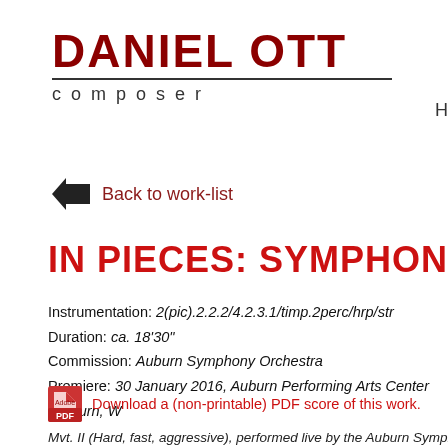DANIEL OTT composer
Back to work-list
IN PIECES: SYMPHONY IN THREE
Instrumentation: 2(pic).2.2.2/4.2.3.1/timp.2perc/hrp/str
Duration: ca. 18'30"
Commission: Auburn Symphony Orchestra
Premiere: 30 January 2016, Auburn Performing Arts Center (Auburn, W
Download a (non-printable) PDF score of this work.
Mvt. II (Hard, fast, aggressive), performed live by the Auburn Sympho